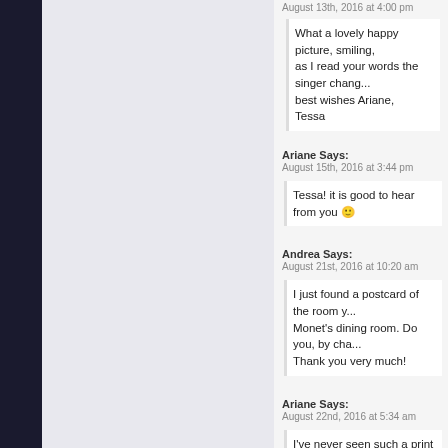August 13th, 2016 at 4:00 pm
What a lovely happy picture, smiling, as I read your words the singer chang... best wishes Ariane, Tessa
Ariane Says: August 15th, 2016 at 3:44 pm
Tessa! it is good to hear from you 🙂
Andrea Says: August 21st, 2016 at 10:20 am
I just found a postcard of the room y... Monet's dining room. Do you, by cha... Thank you very much!
Ariane Says: August 22nd, 2016 at 5:34 am
I've never seen such a print but I can...
Sueann Hum Says: September 14th, 2016 at 1:11 pm